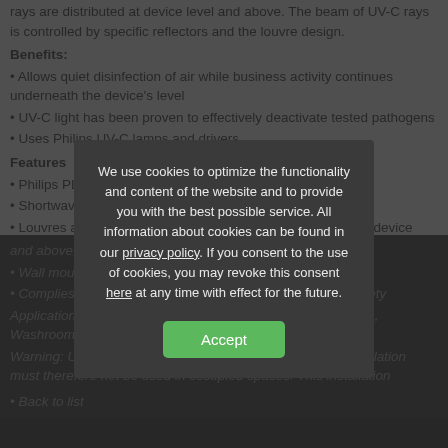rays are distributed at device level and above. The beam of UV-C rays is controlled by specific reflectors and the louvre design.
Benefits:
Allows quiet disinfection of air while business activity continues underneath the device's level
UV-C light has been proven to effectively deactivate tested pathogens
Uses Philips UV-C lamps and drivers
Features
Philips PL-S TUV lamps included: 4x9W
Shortwave UV radiation peak at 253.7 nm (UV-C)
Louvres and reflector control the distribution of UV-C at the device level and above, where people are not usually present
Wall mounted installation
Complies with IEC 62471 at content for photobiological safety
Application: Offices, Reception, Hallways, Corridors, Hospitals, Washrooms
Warning: UV radiation is harmful to skin and eyes. This installation must therefore not be used in occupied spaces. This installation
Back to list
We use cookies to optimize the functionality and content of the website and to provide you with the best possible service. All information about cookies can be found in our privacy policy. If you consent to the use of cookies, you may revoke this consent here at any time with effect for the future.